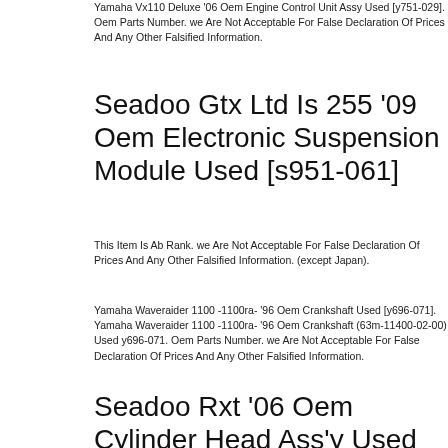Yamaha Vx110 Deluxe '06 Oem Engine Control Unit Assy Used [y751-029]. Oem Parts Number. we Are Not Acceptable For False Declaration Of Prices And Any Other Falsified Information.
Seadoo Gtx Ltd Is 255 '09 Oem Electronic Suspension Module Used [s951-061]
This Item Is Ab Rank. we Are Not Acceptable For False Declaration Of Prices And Any Other Falsified Information. (except Japan).
Yamaha Waveraider 1100 -1100ra- '96 Oem Crankshaft Used [y696-071]. Yamaha Waveraider 1100 -1100ra- '96 Oem Crankshaft (63m-11400-02-00) Used y696-071. Oem Parts Number. we Are Not Acceptable For False Declaration Of Prices And Any Other Falsified Information.
Seadoo Rxt '06 Oem Cylinder Head Ass'y Used [x901-349]